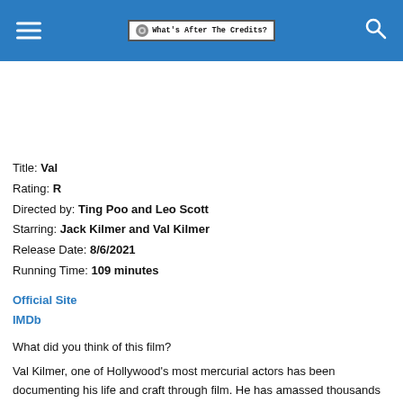What's After The Credits?
Title: Val
Rating: R
Directed by: Ting Poo and Leo Scott
Starring: Jack Kilmer and Val Kilmer
Release Date: 8/6/2021
Running Time: 109 minutes
Official Site
IMDb
What did you think of this film?
Val Kilmer, one of Hollywood's most mercurial actors has been documenting his life and craft through film. He has amassed thousands of hours of footage, from home movies made with his brothers, to time spent in iconic roles for blockbuster films like Top Gun & Batman. This raw and wildly original documentary reveals a life lived to extremes and a heart-filled look at what it means to be an